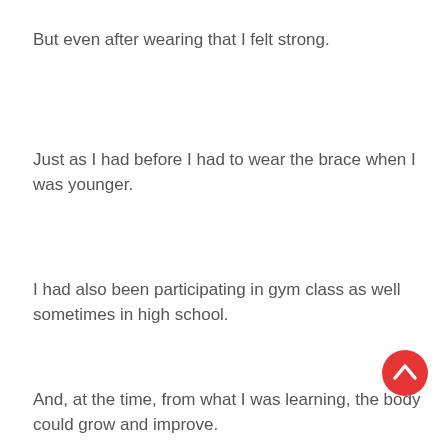But even after wearing that I felt strong.
Just as I had before I had to wear the brace when I was younger.
I had also been participating in gym class as well sometimes in high school.
And, at the time, from what I was learning, the body could grow and improve.
So, I remember saying, if wearing this thing helped